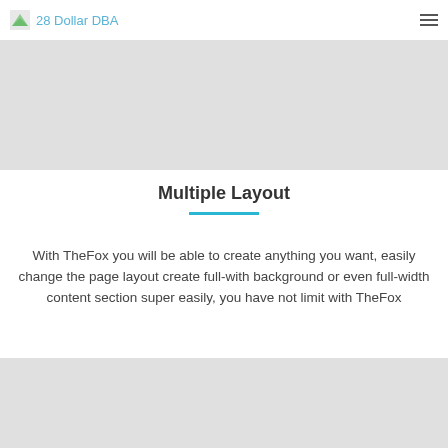28 Dollar DBA
[Figure (other): Gray placeholder banner image at top]
Multiple Layout
With TheFox you will be able to create anything you want, easily change the page layout create full-with background or even full-width content section super easily, you have not limit with TheFox
[Figure (other): Gray placeholder banner image at bottom]